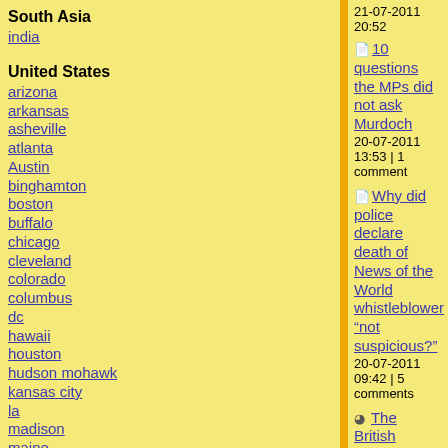South Asia
india
United States
arizona
arkansas
asheville
atlanta
Austin
binghamton
boston
buffalo
chicago
cleveland
colorado
columbus
dc
hawaii
houston
hudson mohawk
kansas city
la
madison
maine
miami
michigan
milwaukee
minneapolis/st. paul
new hampshire
21-07-2011 20:52
10 questions the MPs did not ask Murdoch
20-07-2011 13:53 | 1 comment
Why did police declare death of News of the World whistleblower “not suspicious?”
20-07-2011 09:42 | 5 comments
The British security service is the elephant within the